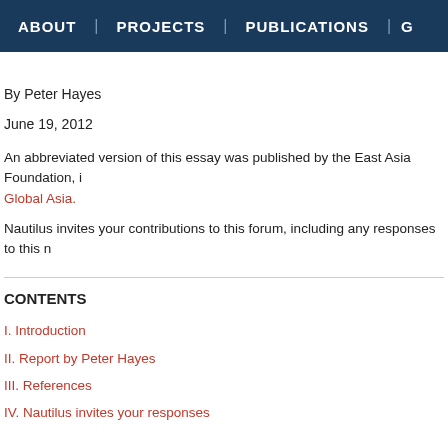ABOUT | PROJECTS | PUBLICATIONS | G
By Peter Hayes
June 19, 2012
An abbreviated version of this essay was published by the East Asia Foundation, in Global Asia.
Nautilus invites your contributions to this forum, including any responses to this n
CONTENTS
I. Introduction
II. Report by Peter Hayes
III. References
IV. Nautilus invites your responses